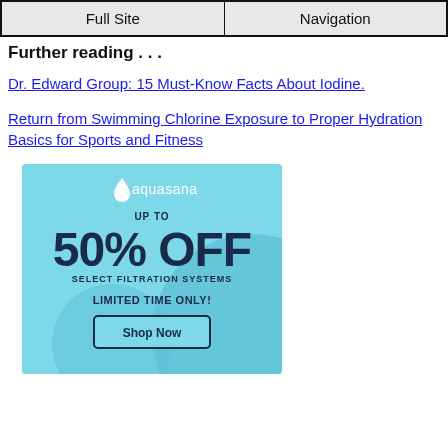Full Site | Navigation
Further reading . . .
Dr. Edward Group: 15 Must-Know Facts About Iodine.
Return from Swimming Chlorine Exposure to Proper Hydration Basics for Sports and Fitness
[Figure (infographic): Aquasana advertisement: UP TO 50% OFF SELECT FILTRATION SYSTEMS LIMITED TIME ONLY! Shop Now button on light blue background]